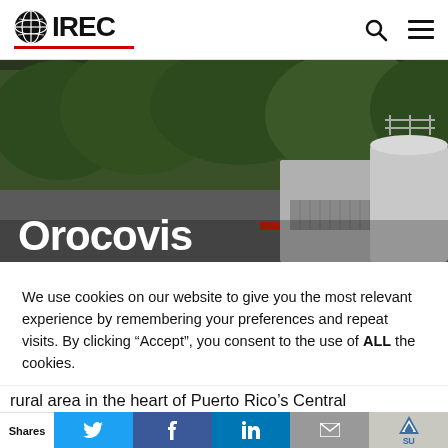IREC logo with globe icon and red underline, search icon, hamburger menu
[Figure (photo): Outdoor photo of a rural energy facility with concrete structure and cylindrical metal tank, dense green trees in background. White bold text 'Orocovis' overlaid at bottom left.]
Orocovis
We use cookies on our website to give you the most relevant experience by remembering your preferences and repeat visits. By clicking “Accept”, you consent to the use of ALL the cookies.
Cookie settings  ACCEPT
rural area in the heart of Puerto Rico’s Central
Shares  [Twitter] [Facebook] [LinkedIn] [Email] [SU]